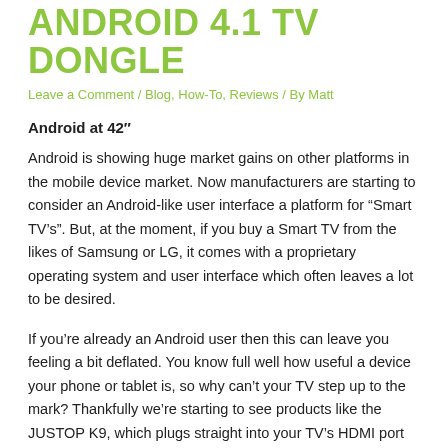ANDROID 4.1 TV DONGLE
Leave a Comment / Blog, How-To, Reviews / By Matt
Android at 42"
Android is showing huge market gains on other platforms in the mobile device market.  Now manufacturers are starting to consider an Android-like user interface a platform for “Smart TV’s”.  But, at the moment, if you buy a Smart TV from the likes of Samsung or LG, it comes with a proprietary operating system and user interface which often leaves a lot to be desired.
If you’re already an Android user then this can leave you feeling a bit deflated.  You know full well how useful a device your phone or tablet is, so why can’t your TV step up to the mark?  Thankfully we’re starting to see products like the JUSTOP K9, which plugs straight into your TV’s HDMI port and gives a full and open Android experience on your TV.